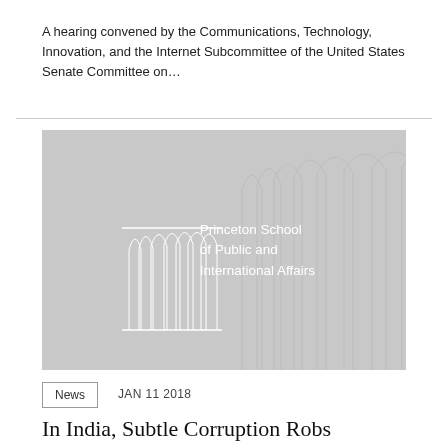A hearing convened by the Communications, Technology, Innovation, and the Internet Subcommittee of the United States Senate Committee on…
[Figure (logo): Princeton School of Public and International Affairs logo on grey background with white arch column graphic]
News   JAN 11 2018
In India, Subtle Corruption Robs